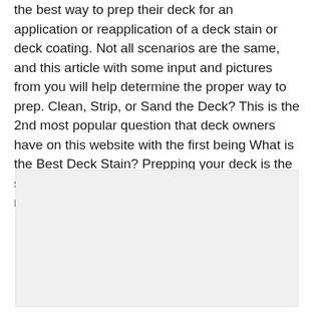the best way to prep their deck for an application or reapplication of a deck stain or deck coating. Not all scenarios are the same, and this article with some input and pictures from you will help determine the proper way to prep. Clean, Strip, or Sand the Deck? This is the 2nd most popular question that deck owners have on this website with the first being What is the Best Deck Stain? Prepping your deck is the single most important aspect of the deck restoration process and will determine your…
[Figure (other): A light gray rectangular placeholder image area]